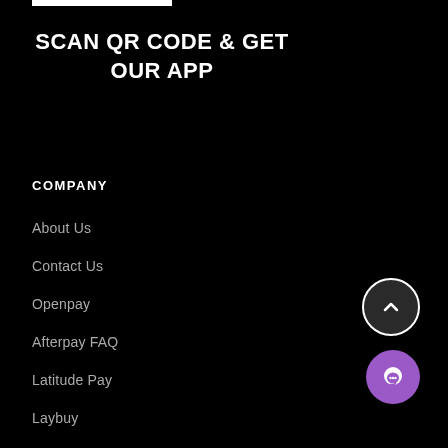SCAN QR CODE & GET OUR APP
COMPANY
About Us
Contact Us
Openpay
Afterpay FAQ
Latitude Pay
Laybuy
Humm/Oxipay
Zippay
[Figure (other): Scroll-to-top button (dark circle with up chevron)]
[Figure (other): Chat button (purple circle with chat bubble icon)]